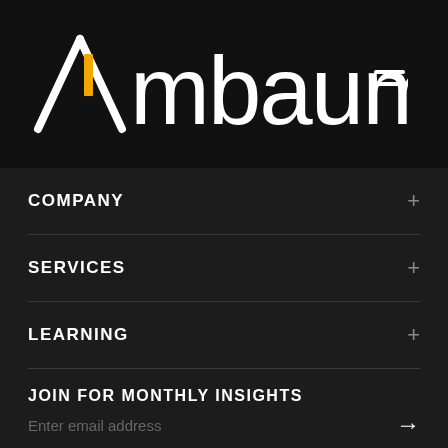[Figure (logo): Ambaum logo in white text on dark background with yellow accent on the letter A]
COMPANY +
SERVICES +
LEARNING +
JOIN FOR MONTHLY INSIGHTS
Enter email address →